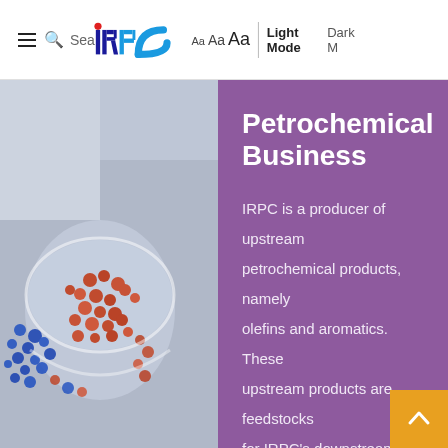IRPC website header with navigation, logo, font size controls, Light Mode / Dark Mode toggle
[Figure (photo): Photograph of colorful polymer pellets/granules in a glass bowl, red, blue and mixed colors, representing petrochemical products]
Petrochemical Business
IRPC is a producer of upstream petrochemical products, namely olefins and aromatics. These upstream products are feedstocks for IRPC's downstream